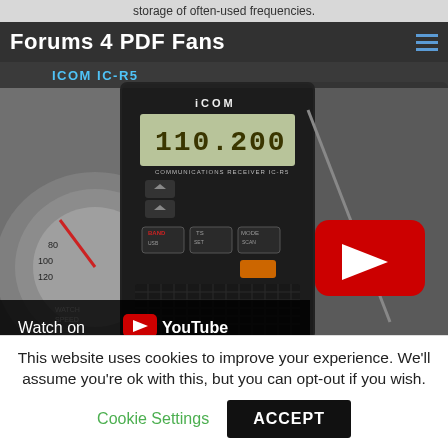storage of often-used frequencies.
Forums 4 PDF Fans
ICOM IC-R5
[Figure (screenshot): YouTube embedded video thumbnail showing an ICOM IC-R5 communications receiver radio displaying frequency 110.200, with a YouTube play button overlay, inside a car dashboard. Bottom left shows 'Watch on YouTube' bar.]
This website uses cookies to improve your experience. We'll assume you're ok with this, but you can opt-out if you wish.
Cookie Settings
ACCEPT